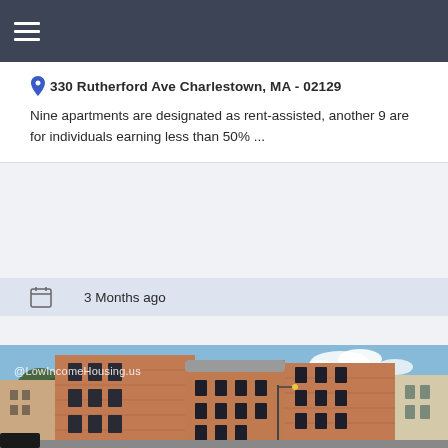≡
330 Rutherford Ave Charlestown, MA - 02129
Nine apartments are designated as rent-assisted, another 9 are for individuals earning less than 50% ...
3 Months ago
[Figure (photo): Exterior photo of a multi-story red brick apartment building at a street corner, with trees visible on the left side. Watermark reads @LowIncomeHousing.us]